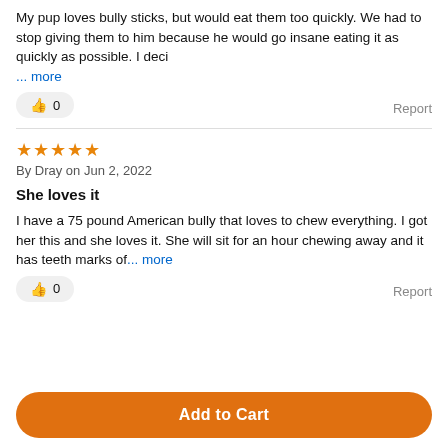My pup loves bully sticks, but would eat them too quickly. We had to stop giving them to him because he would go insane eating it as quickly as possible. I deci ... more
⭐⭐⭐⭐⭐
By Dray on Jun 2, 2022
She loves it
I have a 75 pound American bully that loves to chew everything. I got her this and she loves it. She will sit for an hour chewing away and it has teeth marks of... more
Add to Cart